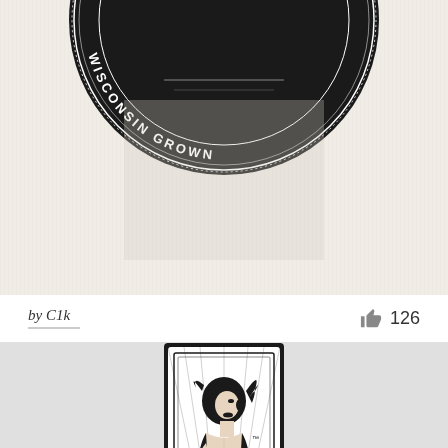[Figure (illustration): Partial view of a circular badge/seal with text 'WISCONSIN GROWN' visible along the bottom arc, black background with white text, decorative border]
by C1k   👍 126
[Figure (illustration): Black and white illustration of a woman with dark curly hair shown from behind/side, wearing a low-back outfit, set within an Art Deco style rectangular badge with radiating lines. A small TM mark is visible.]